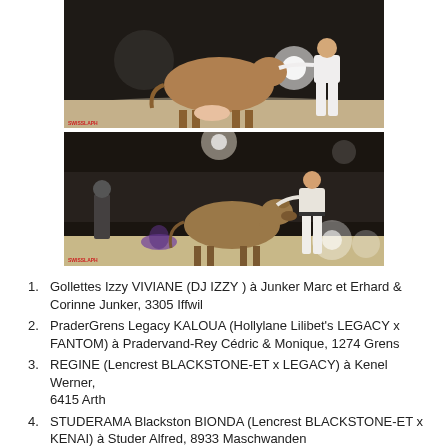[Figure (photo): Top photo: a light brown/tan cow being led by a handler in white at an indoor livestock show, dark background with lights]
[Figure (photo): Bottom photo: a smaller brown/tan cow (heifer) being led by a handler in white at an indoor livestock show, audience visible in background]
Gollettes Izzy VIVIANE (DJ IZZY ) à Junker Marc et Erhard & Corinne Junker, 3305 Iffwil
PraderGrens Legacy KALOUA (Hollylane Lilibet's LEGACY x FANTOM) à Pradervand-Rey Cédric & Monique, 1274 Grens
REGINE (Lencrest BLACKSTONE-ET x LEGACY) à Kenel Werner, 6415 Arth
STUDERAMA Blackston BIONDA (Lencrest BLACKSTONE-ET x KENAI) à Studer Alfred, 8933 Maschwanden
CARBONE (DJ MAY x LEGACY) à Yersin Patrice, 1659